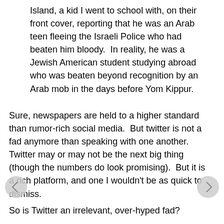Island, a kid I went to school with, on their front cover, reporting that he was an Arab teen fleeing the Israeli Police who had beaten him bloody.  In reality, he was a Jewish American student studying abroad who was beaten beyond recognition by an Arab mob in the days before Yom Kippur.
Sure, newspapers are held to a higher standard than rumor-rich social media.  But twitter is not a fad anymore than speaking with one another.  Twitter may or may not be the next big thing (though the numbers do look promising).  But it is a rich platform, and one I wouldn't be as quick to dismiss.
So is Twitter an irrelevant, over-hyped fad?